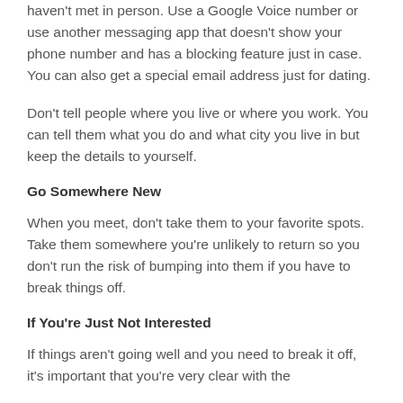haven't met in person. Use a Google Voice number or use another messaging app that doesn't show your phone number and has a blocking feature just in case. You can also get a special email address just for dating.
Don't tell people where you live or where you work. You can tell them what you do and what city you live in but keep the details to yourself.
Go Somewhere New
When you meet, don't take them to your favorite spots. Take them somewhere you're unlikely to return so you don't run the risk of bumping into them if you have to break things off.
If You're Just Not Interested
If things aren't going well and you need to break it off, it's important that you're very clear with the